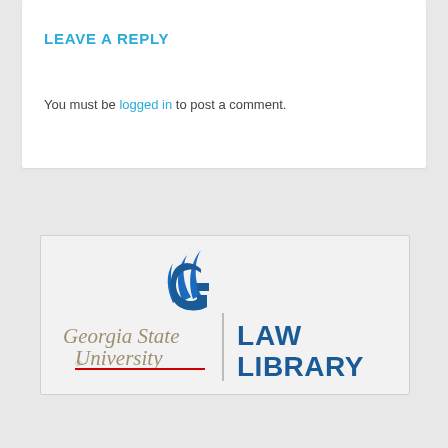LEAVE A REPLY
You must be logged in to post a comment.
[Figure (logo): Georgia State University Law Library logo with blue flame/G mark, Georgia State University text in gray serif with red underline, vertical divider, and LAW LIBRARY in bold blue sans-serif]